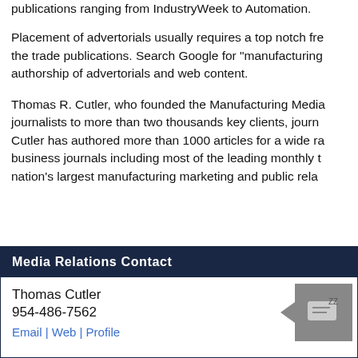and submit advertorial to publishers, editors, and websites at publications ranging from IndustryWeek to Automation.
Placement of advertorials usually requires a top notch fre the trade publications. Search Google for "manufacturing authorship of advertorials and web content.
Thomas R. Cutler, who founded the Manufacturing Media journalists to more than two thousands key clients, journ Cutler has authored more than 1000 articles for a wide ra business journals including most of the leading monthly t nation's largest manufacturing marketing and public rela
Media Relations Contact
Thomas Cutler
954-486-7562
Email | Web | Profile